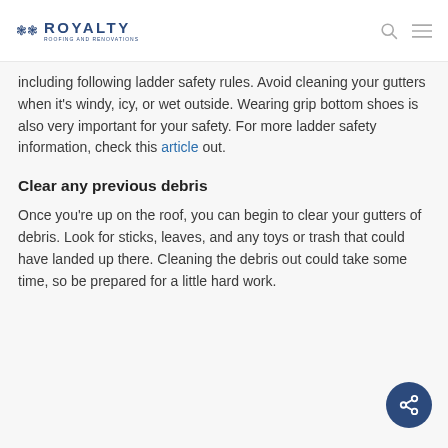ROYALTY
including following ladder safety rules. Avoid cleaning your gutters when it’s windy, icy, or wet outside. Wearing grip bottom shoes is also very important for your safety. For more ladder safety information, check this article out.
Clear any previous debris
Once you’re up on the roof, you can begin to clear your gutters of debris. Look for sticks, leaves, and any toys or trash that could have landed up there. Cleaning the debris out could take some time, so be prepared for a little hard work.